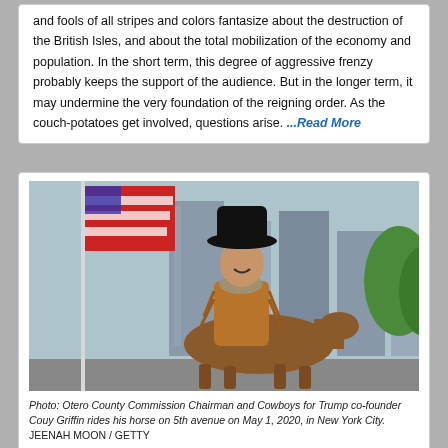and fools of all stripes and colors fantasize about the destruction of the British Isles, and about the total mobilization of the economy and population. In the short term, this degree of aggressive frenzy probably keeps the support of the audience. But in the longer term, it may undermine the very foundation of the reigning order. As the couch-potatoes get involved, questions arise. ...Read More
[Figure (photo): A man wearing a black cowboy hat and brown fringed leather jacket with fur collar rides a horse on 5th avenue in New York City, with an American flag in the background.]
Photo: Otero County Commission Chairman and Cowboys for Trump co-founder Couy Griffin rides his horse on 5th avenue on May 1, 2020, in New York City. JEENAH MOON / GETTY